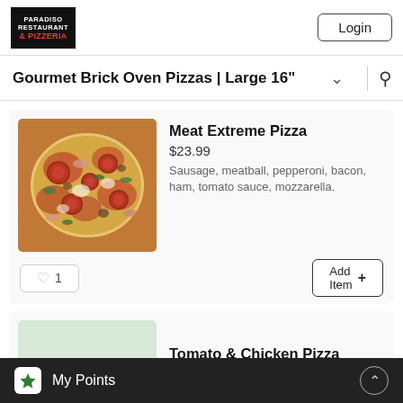PARADISO RESTAURANT & PIZZERIA | Login
Gourmet Brick Oven Pizzas | Large 16"
[Figure (photo): Close-up photo of Meat Extreme Pizza showing pepperoni, sausage, ham, meatball, and bacon toppings on melted mozzarella with tomato sauce]
Meat Extreme Pizza
$23.99
Sausage, meatball, pepperoni, bacon, ham, tomato sauce, mozzarella.
♡ 1
Add Item +
[Figure (photo): Partially visible placeholder image for Tomato & Chicken Pizza]
Tomato & Chicken Pizza
My Points